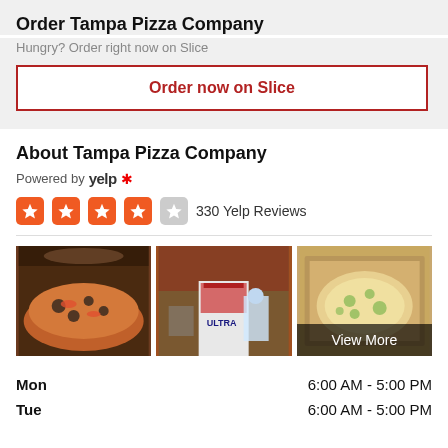Order Tampa Pizza Company
Hungry? Order right now on Slice
Order now on Slice
About Tampa Pizza Company
Powered by yelp
330 Yelp Reviews
[Figure (photo): Three restaurant photos: pizza with toppings, outdoor seating with Michelob Ultra bucket, pizza in box. Third photo has 'View More' overlay.]
| Day | Hours |
| --- | --- |
| Mon | 6:00 AM - 5:00 PM |
| Tue | 6:00 AM - 5:00 PM |